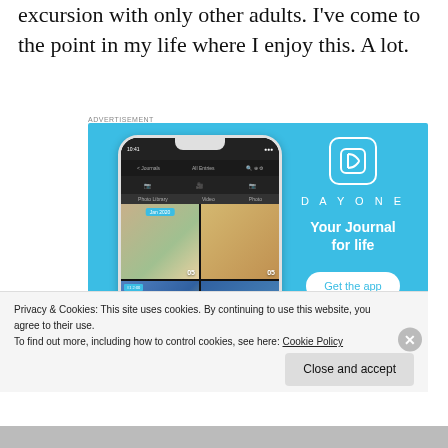excursion with only other adults. I've come to the point in my life where I enjoy this. A lot.
ADVERTISEMENT
[Figure (screenshot): DayOne app advertisement on light blue background, showing a phone mockup with a journal app interface on the left, and the DayOne logo, tagline 'Your Journal for life', and a 'Get the app' button on the right.]
Privacy & Cookies: This site uses cookies. By continuing to use this website, you agree to their use.
To find out more, including how to control cookies, see here: Cookie Policy
Close and accept